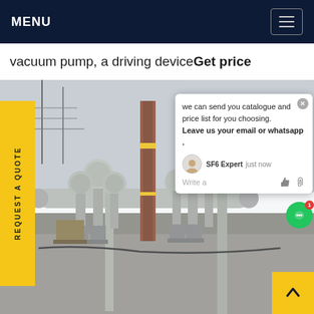MENU
vacuum pump, a driving deviceGet price
[Figure (photo): Industrial electrical substation with large SF6 gas-insulated switchgear equipment, cylindrical vessels, pipes and support columns on gravel ground with power lines in background]
REQUEST A QUOTE
we can send you catalogue and price list for you choosing.
Leave us your email or whatsapp .
SF6 Expert   just now
Write a